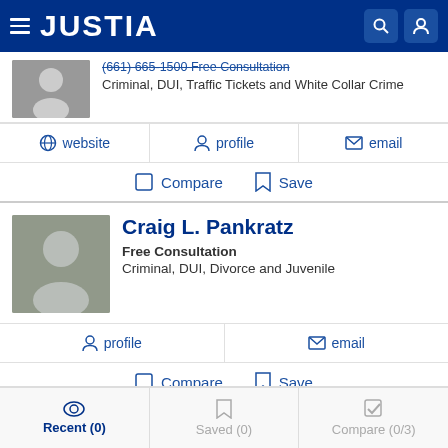JUSTIA
(661) 665-1500 Free Consultation
Criminal, DUI, Traffic Tickets and White Collar Crime
website | profile | email
Compare | Save
Craig L. Pankratz
Free Consultation
Criminal, DUI, Divorce and Juvenile
profile | email
Compare | Save
Recent (0) | Saved (0) | Compare (0/3)